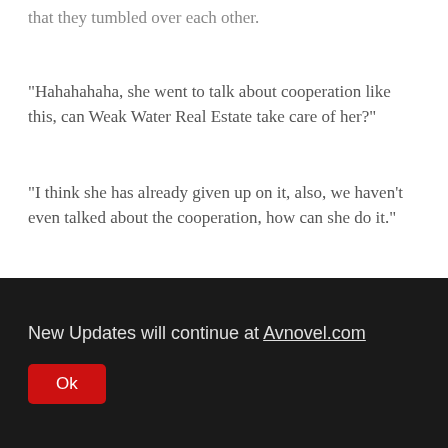that they tumbled over each other.
“Hahahahaha, she went to talk about cooperation like this, can Weak Water Real Estate take care of her?”
“I think she has already given up on it, also, we haven’t even talked about the cooperation, how can she do it.”
“Hai Chao, you’ve used this move but it’s a good one, Su Yingxia is dead this time, she’ll be kicked out of the Su
New Updates will continue at Avnovel.com
Ok